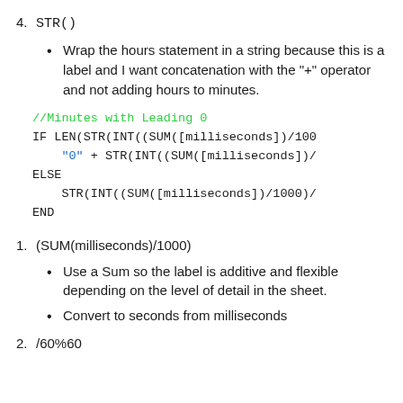4. STR()
Wrap the hours statement in a string because this is a label and I want concatenation with the "+" operator and not adding hours to minutes.
//Minutes with Leading 0
IF LEN(STR(INT((SUM([milliseconds])/1000
    "0" + STR(INT((SUM([milliseconds])/
ELSE
    STR(INT((SUM([milliseconds])/1000)/
END
1. (SUM(milliseconds)/1000)
Use a Sum so the label is additive and flexible depending on the level of detail in the sheet.
Convert to seconds from milliseconds
2. /60%60